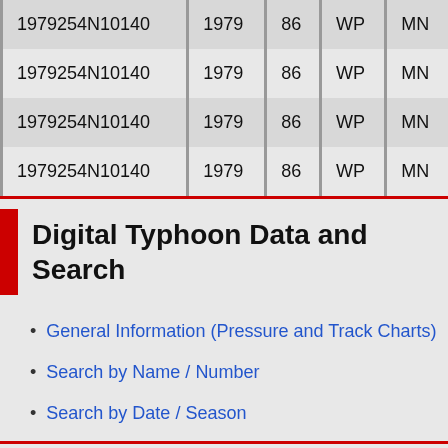| ID | Year | Number | Basin | Code |
| --- | --- | --- | --- | --- |
| 1979254N10140 | 1979 | 86 | WP | MN |
| 1979254N10140 | 1979 | 86 | WP | MN |
| 1979254N10140 | 1979 | 86 | WP | MN |
| 1979254N10140 | 1979 | 86 | WP | MN |
Digital Typhoon Data and Search
General Information (Pressure and Track Charts)
Search by Name / Number
Search by Date / Season
About IBTrACS Database